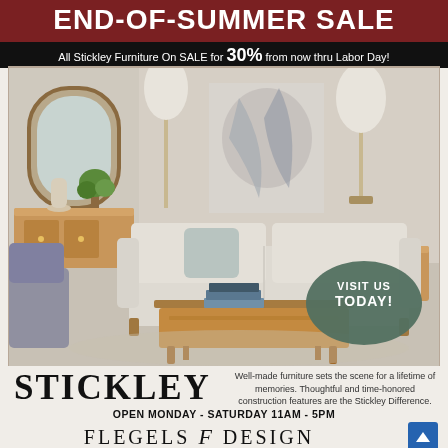END-OF-SUMMER SALE
All Stickley Furniture On SALE for 30% from now thru Labor Day!
[Figure (photo): Living room scene with Stickley furniture: cream upholstered sofa, wooden coffee table, side tables, mirror, lamps, and abstract wall art. Oval badge reads VISIT US TODAY!]
STICKLEY
Well-made furniture sets the scene for a lifetime of memories. Thoughtful and time-honored construction features are the Stickley Difference.
OPEN MONDAY - SATURDAY 11AM - 5PM
FLEGELS F DESIGN